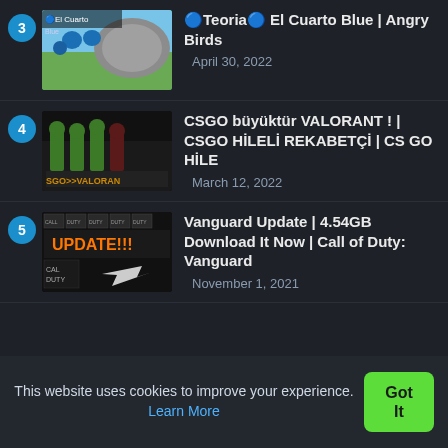🔵Teoria🔵 El Cuarto Blue | Angry Birds
April 30, 2022
CSGO büyüktür VALORANT ! | CSGO HİLELİ REKABETÇİ | CS GO HİLE
March 12, 2022
Vanguard Update | 4.54GB Download It Now | Call of Duty: Vanguard
November 1, 2021
This website uses cookies to improve your experience. Learn More